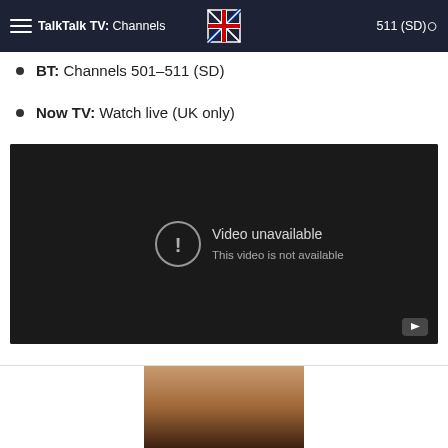TalkTalk TV: Channels [logo] 511 (SD)
BT: Channels 501–511 (SD)
Now TV: Watch live (UK only)
[Figure (screenshot): Embedded video player showing 'Video unavailable - This video is not available' message on dark background with YouTube icon]
[Figure (photo): Partial photo of a person's hair at the bottom of the page]